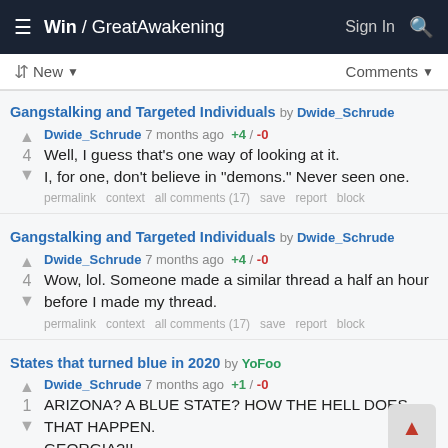Win / GreatAwakening  Sign In
New  Comments
Gangstalking and Targeted Individuals by Dwide_Schrude
Dwide_Schrude 7 months ago +4 / -0
Well, I guess that's one way of looking at it. I, for one, don't believe in "demons." Never seen one.
permalink  context  all comments (17)  save  report  block
Gangstalking and Targeted Individuals by Dwide_Schrude
Dwide_Schrude 7 months ago +4 / -0
Wow, lol. Someone made a similar thread a half an hour before I made my thread.
permalink  context  all comments (17)  save  report  block
States that turned blue in 2020 by YoFoo
Dwide_Schrude 7 months ago +1 / -0
ARIZONA? A BLUE STATE? HOW THE HELL DOES THAT HAPPEN. GEORGIA?!
permalink  context  all comments (17)  save  report  block